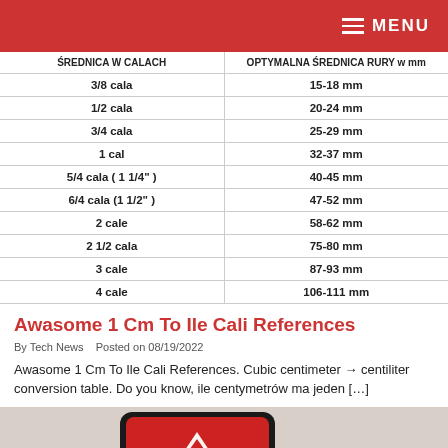MENU
| ŚREDNICA W CALACH | OPTYMALNA ŚREDNICA RURY w mm |
| --- | --- |
| 3/8 cala | 15-18 mm |
| 1/2 cala | 20-24 mm |
| 3/4 cala | 25-29 mm |
| 1 cal | 32-37 mm |
| 5/4 cala ( 1 1/4" ) | 40-45 mm |
| 6/4 cala (1 1/2" ) | 47-52 mm |
| 2 cale | 58-62 mm |
| 2  1/2 cala | 75-80 mm |
| 3 cale | 87-93 mm |
| 4 cale | 106-111 mm |
Awasome 1 Cm To Ile Cali References
By Tech News   Posted on 08/19/2022
Awasome 1 Cm To Ile Cali References. Cubic centimeter → centiliter conversion table. Do you know, ile centymetrów ma jeden […]
[Figure (photo): A hand holding a smartphone displaying a red warning triangle with exclamation mark icon]